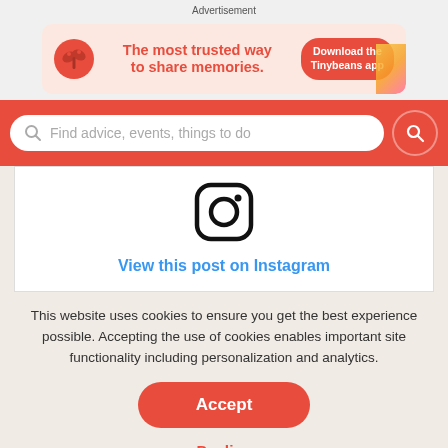Advertisement
[Figure (infographic): Tinybeans app advertisement banner: plant/sprout logo, text 'The most trusted way to share memories.' and 'Download the Tinybeans app' button]
Find advice, events, things to do
[Figure (logo): Instagram logo icon (rounded square with circle inside)]
View this post on Instagram
This website uses cookies to ensure you get the best experience possible. Accepting the use of cookies enables important site functionality including personalization and analytics.
Accept
Decline